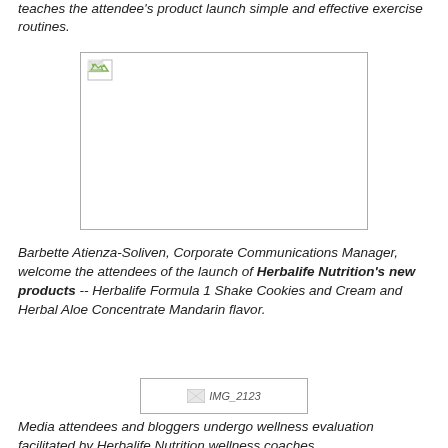teaches the attendee's product launch simple and effective exercise routines.
[Figure (photo): Broken/missing image placeholder (large, landscape photo)]
Barbette Atienza-Soliven, Corporate Communications Manager, welcome the attendees of the launch of Herbalife Nutrition's new products -- Herbalife Formula 1 Shake Cookies and Cream and Herbal Aloe Concentrate Mandarin flavor.
[Figure (photo): Broken/missing image placeholder labeled IMG_2123]
Media attendees and bloggers undergo wellness evaluation facilitated by Herbalife Nutrition wellness coaches.